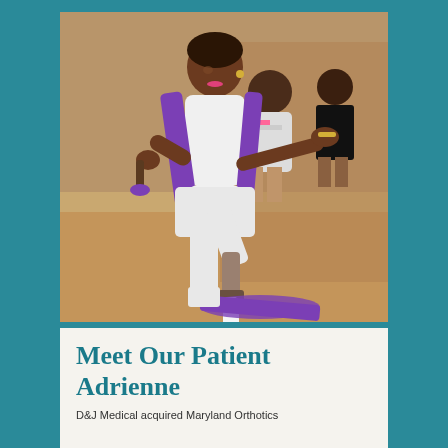[Figure (photo): A woman wearing a white outfit with a purple vest is dancing or performing with a prosthetic leg. She is in a kneeling/lunging pose with one arm extended. In the background, several young women and children watch from chairs.]
Meet Our Patient Adrienne
D&J Medical acquired Maryland Orthotics